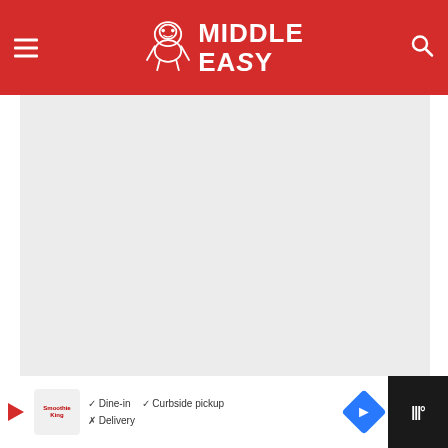MIDDLE EASY
[Figure (photo): Large hero image area, light gray placeholder]
MMA NEWS
Kevin Holland Might Not Be So Inclined To Help People Anymore After Police Gave Him Trouble
[Figure (other): What's Next panel: Interview: Top ONE prospe...]
[Figure (other): Bottom advertisement bar with Smoothie King logo, Dine-in, Curbside pickup, Delivery options and navigation icon]